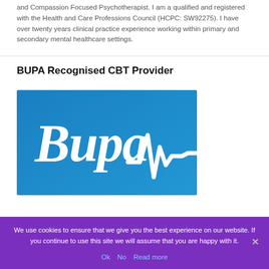and Compassion Focused Psychotherapist. I am a qualified and registered with the Health and Care Professions Council (HCPC: SW92275). I have over twenty years clinical practice experience working within primary and secondary mental healthcare settings.
BUPA Recognised CBT Provider
[Figure (logo): BUPA logo on blue gradient background with italic white 'Bupa' text and a white heartbeat/ECG line graphic]
We use cookies to ensure that we give you the best experience on our website. If you continue to use this site we will assume that you are happy with it.
Ok
No
Read more